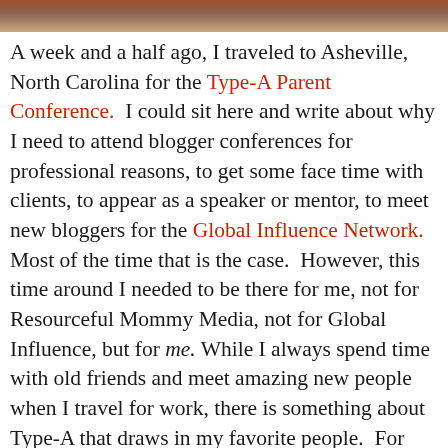[Figure (photo): Partial photo strip at the top of the page showing a warm-toned image, partially cropped.]
A week and a half ago, I traveled to Asheville, North Carolina for the Type-A Parent Conference. I could sit here and write about why I need to attend blogger conferences for professional reasons, to get some face time with clients, to appear as a speaker or mentor, to meet new bloggers for the Global Influence Network. Most of the time that is the case. However, this time around I needed to be there for me, not for Resourceful Mommy Media, not for Global Influence, but for me. While I always spend time with old friends and meet amazing new people when I travel for work, there is something about Type-A that draws in my favorite people. For three years now we have made the crazy trek that is required to get to Asheville, tucked into the worn down Blue Ridge Mountains, partly to support our friend and conference organizer Kelby and partly to just sit in each other’s physical presence, no longer satisfied with phone calls, emails and tweets. Now that it’s over, we’re all left wanting more. More hugs, more ridiculous conversations, more late